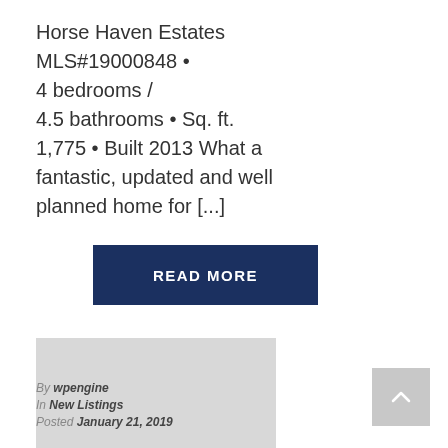Horse Haven Estates MLS#19000848 • 4 bedrooms / 4.5 bathrooms • Sq. ft. 1,775 • Built 2013 What a fantastic, updated and well planned home for [...]
READ MORE
[Figure (photo): Gray placeholder image rectangle]
By wpengine
In New Listings
Posted January 21, 2019